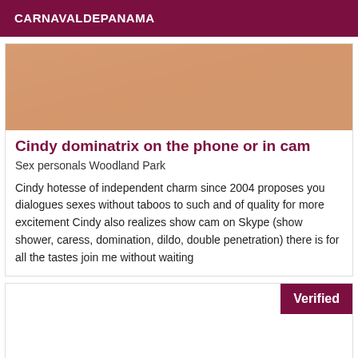CARNAVALDEPANAMA
[Figure (photo): Partial photo of a person with tattoos]
Cindy dominatrix on the phone or in cam
Sex personals Woodland Park
Cindy hotesse of independent charm since 2004 proposes you dialogues sexes without taboos to such and of quality for more excitement Cindy also realizes show cam on Skype (show shower, caress, domination, dildo, double penetration) there is for all the tastes join me without waiting
Verified